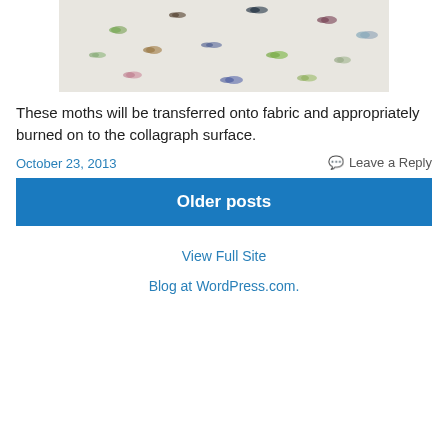[Figure (photo): A collection of moths and butterflies arranged on a white background, various species in different colors and sizes scattered across the surface.]
These moths will be transferred onto fabric and appropriately burned on to the collagraph surface.
October 23, 2013
Leave a Reply
Older posts
View Full Site
Blog at WordPress.com.